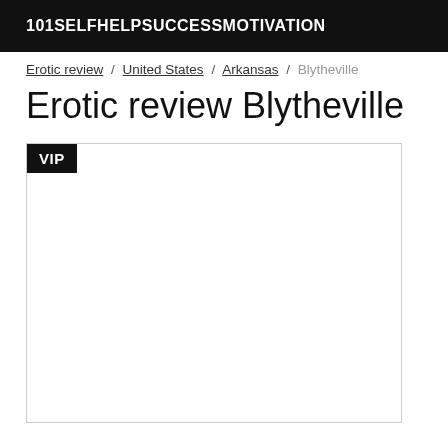101SELFHELPSUCCESSMOTIVATION
Erotic review / United States / Arkansas / Blytheville
Erotic review Blytheville
[Figure (other): A white card/box with a VIP badge in the top-left corner]